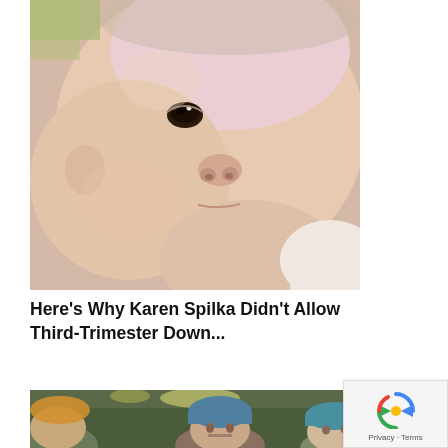[Figure (photo): Close-up photo of a newborn baby's face looking upward, with soft skin and dark eyes, wearing a light-colored garment]
Here's Why Karen Spilka Didn't Allow Third-Trimester Down...
[Figure (photo): Partial photo of medical professional(s) in surgical caps in what appears to be an operating room]
Privacy · Terms